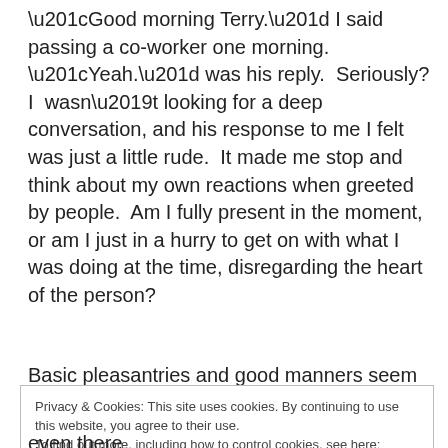“Good morning Terry.” I said passing a co-worker one morning. “Yeah.” was his reply.  Seriously? I  wasn’t looking for a deep conversation, and his response to me I felt was just a little rude.  It made me stop and think about my own reactions when greeted by people.  Am I fully present in the moment, or am I just in a hurry to get on with what I was doing at the time, disregarding the heart of the person?
Basic pleasantries and good manners seem to be a
Privacy & Cookies: This site uses cookies. By continuing to use this website, you agree to their use.
To find out more, including how to control cookies, see here: Cookie Policy
[Close and accept button]
even there.